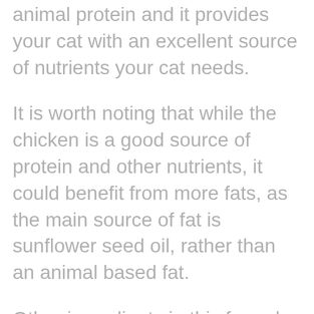animal protein and it provides your cat with an excellent source of nutrients your cat needs.
It is worth noting that while the chicken is a good source of protein and other nutrients, it could benefit from more fats, as the main source of fat is sunflower seed oil, rather than an animal based fat.
Other ingredients in this formula include chicken brother for moisture, a guar and xanthan gums to thicken the food, and synthetic supplements.